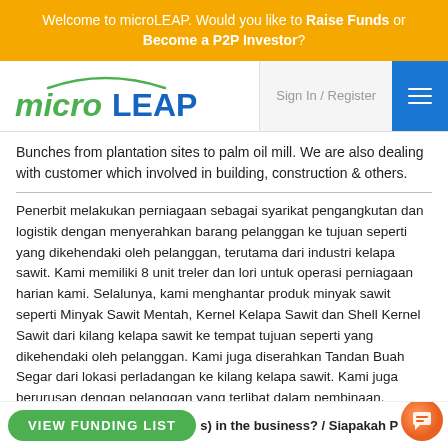Welcome to microLEAP. Would you like to Raise Funds or Become a P2P Investor?
[Figure (logo): microLEAP logo with green italic 'micro' and blue bold 'LEAP' text with arc above]
Sign In / Register
Bunches from plantation sites to palm oil mill. We are also dealing with customer which involved in building, construction & others.
Penerbit melakukan perniagaan sebagai syarikat pengangkutan dan logistik dengan menyerahkan barang pelanggan ke tujuan seperti yang dikehendaki oleh pelanggan, terutama dari industri kelapa sawit. Kami memiliki 8 unit treler dan lori untuk operasi perniagaan harian kami. Selalunya, kami menghantar produk minyak sawit seperti Minyak Sawit Mentah, Kernel Kelapa Sawit dan Shell Kernel Sawit dari kilang kelapa sawit ke tempat tujuan seperti yang dikehendaki oleh pelanggan. Kami juga diserahkan Tandan Buah Segar dari lokasi perladangan ke kilang kelapa sawit. Kami juga berurusan dengan pelanggan yang terlibat dalam pembinaan, pembinaan & lain-lain.
VIEW FUNDING LIST
s) in the business? / Siapakah Pemiagaan ini.